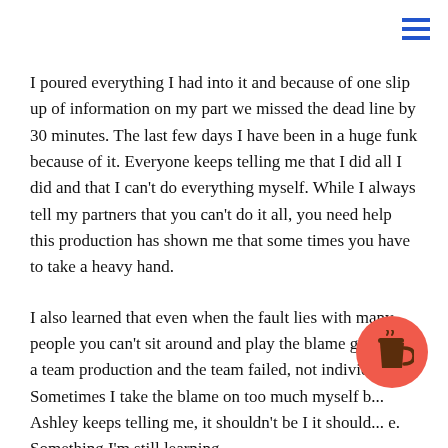[Figure (other): Hamburger menu icon (three horizontal blue lines) in top-right corner]
I poured everything I had into it and because of one slip up of information on my part we missed the dead line by 30 minutes. The last few days I have been in a huge funk because of it. Everyone keeps telling me that I did all I did and that I can't do everything myself. While I always tell my partners that you can't do it all, you need help this production has shown me that some times you have to take a heavy hand.
I also learned that even when the fault lies with many people you can't sit around and play the blame game. It's a team production and the team failed, not individu... Sometimes I take the blame on too much myself b... Ashley keeps telling me, it shouldn't be I it should... e. Something I'm still learning.
[Figure (illustration): Red circular button with a coffee cup icon (Buy Me a Coffee widget) in the bottom-right area]